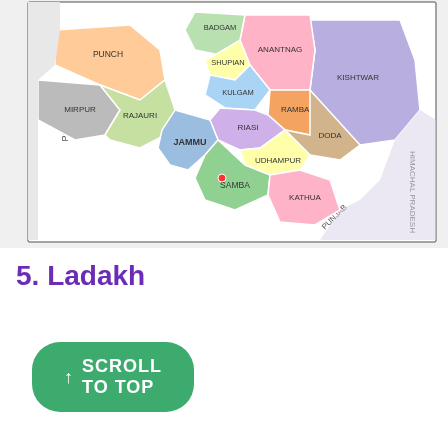[Figure (map): Map of Jammu and Kashmir union territory showing districts including Punch, Badgam, Shupian, Anantnag, Kulgam, Kishtwar, Mirpur, Rajauri, Riasi, Ramban, Doda, Jammu, Udhampur, Samba, Kathua. Neighboring regions labeled: Pakistan (left), Himachal Pradesh (right), Punjab (bottom).]
5. Ladakh